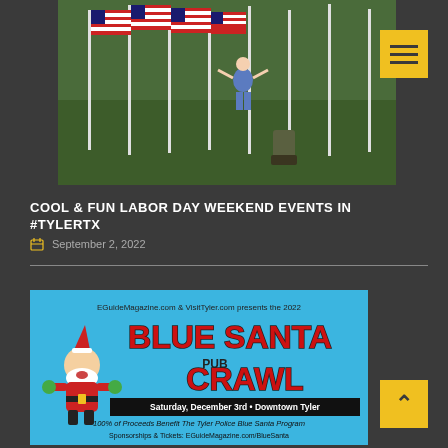[Figure (photo): Child walking among American flags on a lawn, with a soldier in camouflage uniform nearby]
COOL & FUN LABOR DAY WEEKEND EVENTS IN #TYLERTX
September 2, 2022
[Figure (photo): Blue Santa Pub Crawl 2022 advertisement. EGuideMagazine.com & VisitTyler.com presents the 2022 Blue Santa Pub Crawl. Saturday, December 3rd • Downtown Tyler. 100% of Proceeds Benefit The Tyler Police Blue Santa Program. Sponsorships & Tickets: EGuideMagazine.com/BlueSanta]